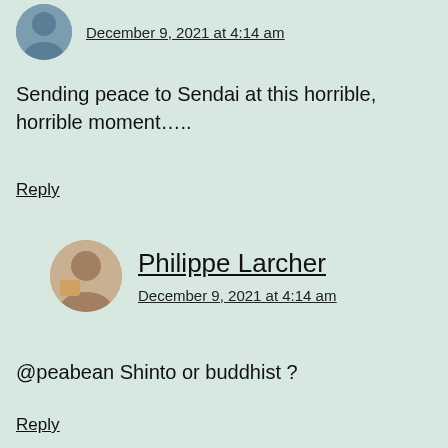December 9, 2021 at 4:14 am
Sending peace to Sendai at this horrible, horrible moment…..
Reply
Philippe Larcher
December 9, 2021 at 4:14 am
@peabean Shinto or buddhist ?
Reply